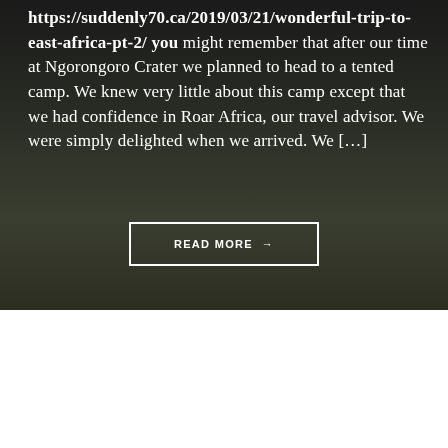https://suddenly70.ca/2019/03/21/wonderful-trip-to-east-africa-pt-2/ you might remember that after our time at Ngorongoro Crater we planned to head to a tented camp. We knew very little about this camp except that we had confidence in Roar Africa, our travel advisor. We were simply delighted when we arrived. We […]
READ MORE →
[Figure (other): Loading spinner icon in gray on white background]